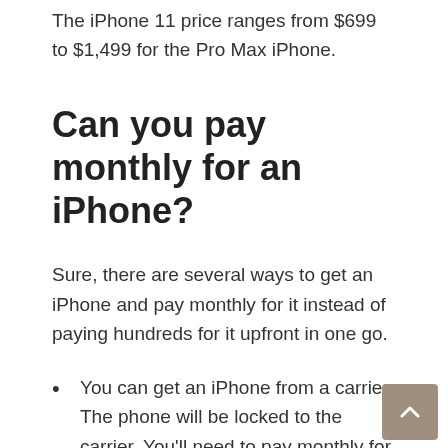The iPhone 11 price ranges from $699 to $1,499 for the Pro Max iPhone.
Can you pay monthly for an iPhone?
Sure, there are several ways to get an iPhone and pay monthly for it instead of paying hundreds for it upfront in one go.
You can get an iPhone from a carrier. The phone will be locked to the carrier. You'll need to pay monthly for the plan for a min. required period (usually 1-3 years).
You can...